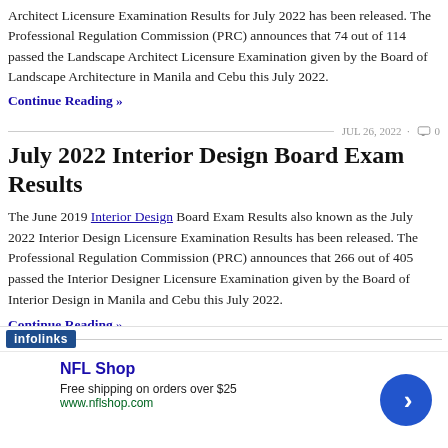Architect Licensure Examination Results for July 2022 has been released. The Professional Regulation Commission (PRC) announces that 74 out of 114 passed the Landscape Architect Licensure Examination given by the Board of Landscape Architecture in Manila and Cebu this July 2022.
Continue Reading »
JUL 26, 2022 · 0
July 2022 Interior Design Board Exam Results
The June 2019 Interior Design Board Exam Results also known as the July 2022 Interior Design Licensure Examination Results has been released. The Professional Regulation Commission (PRC) announces that 266 out of 405 passed the Interior Designer Licensure Examination given by the Board of Interior Design in Manila and Cebu this July 2022.
Continue Reading »
JUL 25, 2022 · 0
[Figure (other): Infolinks advertisement banner for NFL Shop: Free shipping on orders over $25, www.nflshop.com]